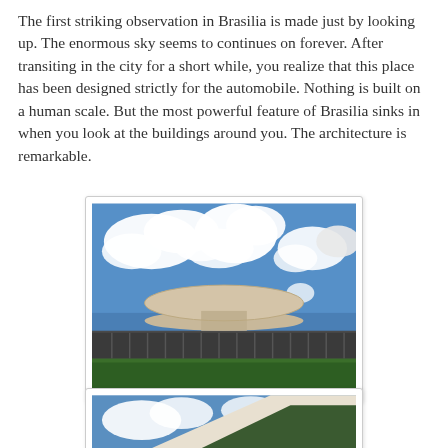The first striking observation in Brasilia is made just by looking up. The enormous sky seems to continues on forever. After transiting in the city for a short while, you realize that this place has been designed strictly for the automobile. Nothing is built on a human scale. But the most powerful feature of Brasilia sinks in when you look at the buildings around you. The architecture is remarkable.
[Figure (photo): Photograph of a modernist building in Brasilia with a large dome-shaped/disc structure on top of a low horizontal building with columns, set against a blue sky with white clouds and green lawn in foreground.]
[Figure (photo): Partially visible photograph showing a modernist architectural detail — angled white concrete surface against a blue sky with clouds.]